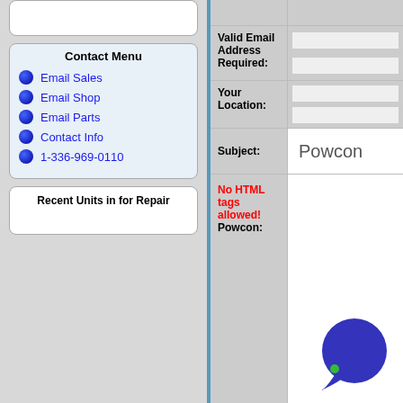Contact Menu
Email Sales
Email Shop
Email Parts
Contact Info
1-336-969-0110
Recent Units in for Repair
Valid Email Address Required:
Your Location:
Subject: Powcon
No HTML tags allowed! Powcon:
[Figure (logo): Powcon company logo - blue speech bubble with white spiral and green dot]